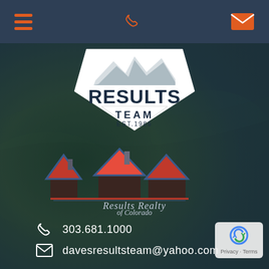[Figure (logo): Dark teal/navy navigation bar at top with hamburger menu icon (orange), phone icon (orange), and envelope/mail icon (orange)]
[Figure (logo): Results Team badge logo: shield shape with mountain silhouette, 'RESULTS' in large bold navy letters, 'TEAM' below, 'EST.1986' at bottom, white background]
[Figure (logo): Results Realty of Colorado logo: three house rooftops in red and navy blue, with text 'Results Realty of Colorado' in stylized script/serif font below]
303.681.1000
davesresultsteam@yahoo.com